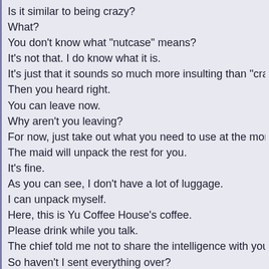Is it similar to being crazy?
What?
You don't know what "nutcase" means?
It's not that. I do know what it is.
It's just that it sounds so much more insulting than "crazy," so
Then you heard right.
You can leave now.
Why aren't you leaving?
For now, just take out what you need to use at the moment.
The maid will unpack the rest for you.
It's fine.
As you can see, I don't have a lot of luggage.
I can unpack myself.
Here, this is Yu Coffee House's coffee.
Please drink while you talk.
The chief told me not to share the intelligence with you.
So haven't I sent everything over?
Regardless, that report was done by me.
Really...
Has there been no development on the North and Chairman J
What's the situation then?